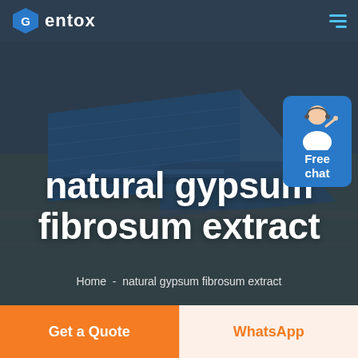Gentox
[Figure (photo): Aerial view of a large industrial factory complex with blue roofed warehouse buildings, set against a flat landscape. Dark overlay applied over the image.]
natural gypsum fibrosum extract
Home  -  natural gypsum fibrosum extract
[Figure (illustration): Customer service representative avatar on a blue rounded rectangle button with text 'Free chat']
Get a Quote
WhatsApp